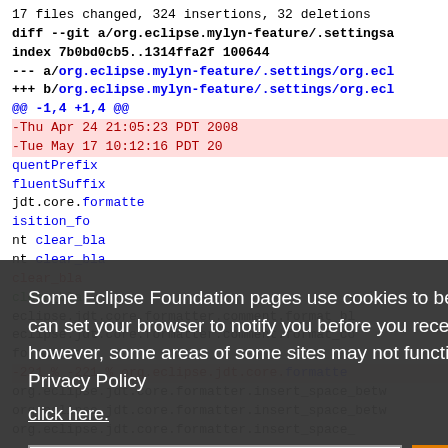17 files changed, 324 insertions, 32 deletions
diff --git a/org.eclipse.mylyn-feature/.settings/...
index 7b0bd0cb5..1314ffa2f 100644
--- a/org.eclipse.mylyn-feature/.settings/org.ec...
+++ b/org.eclipse.mylyn-feature/.settings/org.ec...
@@ -1,4 +1,4 @@
[Figure (screenshot): Cookie consent overlay dialog on Eclipse Foundation website showing text about cookie usage and two buttons: Decline and Allow cookies]
Some Eclipse Foundation pages use cookies to better serve you when you return to the site. You can set your browser to notify you before you receive a cookie or turn off cookies. If you do so, however, some areas of some sites may not function properly. To read Eclipse Foundation Privacy Policy click here.